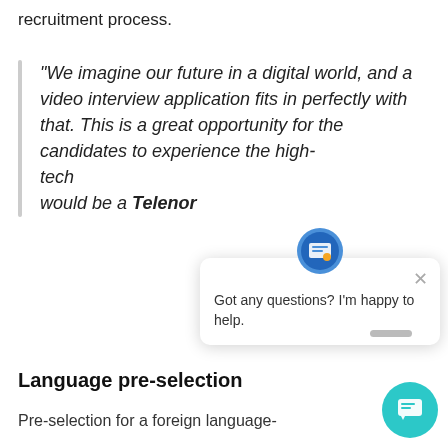recruitment process.
“We imagine our future in a digital world, and a video interview application fits in perfectly with that. This is a great opportunity for the candidates to experience the high-tech [recruitment process that] would be a[vailable at] Telenor
[Figure (screenshot): Chat popup widget with icon showing a SIM card character, a close X button, and the text 'Got any questions? I’m happy to help.']
Language pre-selection
Pre-selection for a foreign language-